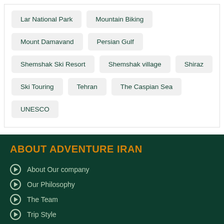Lar National Park
Mountain Biking
Mount Damavand
Persian Gulf
Shemshak Ski Resort
Shemshak village
Shiraz
Ski Touring
Tehran
The Caspian Sea
UNESCO
ABOUT ADVENTURE IRAN
About Our company
Our Philosophy
The Team
Trip Style